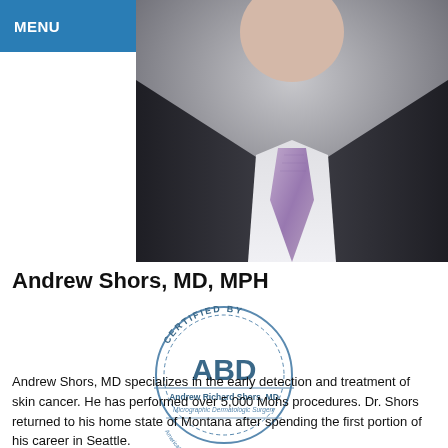MENU
[Figure (photo): Professional headshot of a doctor in a dark suit with purple/lavender tie and white shirt]
Andrew Shors, MD, MPH
[Figure (logo): ABD certification seal - Certified By ABD, Andrew Richard Shors, MD, Micrographic Dermatologic Surgery, American Board of Dermatology]
Andrew Shors, MD specializes in the early detection and treatment of skin cancer. He has performed over 5,000 Mohs procedures. Dr. Shors returned to his home state of Montana after spending the first portion of his career in Seattle.